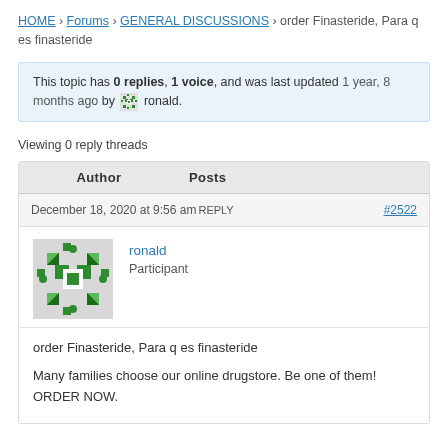HOME › Forums › GENERAL DISCUSSIONS › order Finasteride, Para q es finasteride
This topic has 0 replies, 1 voice, and was last updated 1 year, 8 months ago by ronald.
Viewing 0 reply threads
| Author | Posts |
| --- | --- |
| December 18, 2020 at 9:56 am REPLY | #2522 |
| ronald
Participant | order Finasteride, Para q es finasteride

Many families choose our online drugstore. Be one of them! ORDER NOW. |
order Finasteride, Para q es finasteride
Many families choose our online drugstore. Be one of them! ORDER NOW.